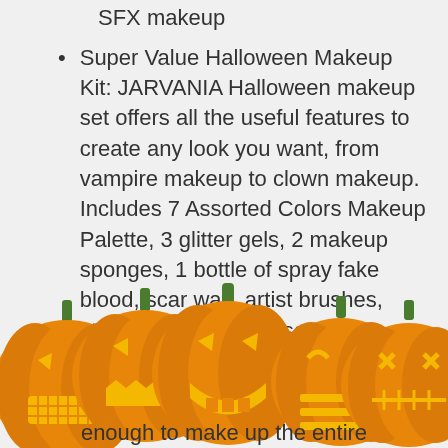SFX makeup
Super Value Halloween Makeup Kit: JARVANIA Halloween makeup set offers all the useful features to create any look you want, from vampire makeup to clown makeup. Includes 7 Assorted Colors Makeup Palette, 3 glitter gels, 2 makeup sponges, 1 bottle of spray fake blood, scar wax, artist brushes, stencil stickers, fake scar tattoo, crystal sticker, makeup pencil
[Figure (illustration): A row of five carved Halloween jack-o-lantern pumpkins with glowing orange faces and green stems, partially overlapping the text above and below]
enough to make up the entire